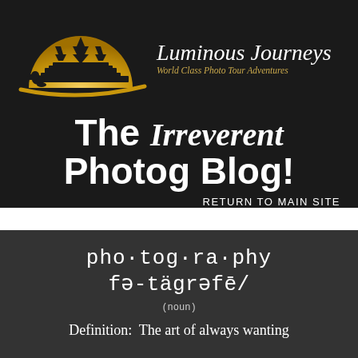[Figure (logo): Luminous Journeys logo: gold semicircle with black silhouette of temple/pagoda and photographer figure, gold swoosh below]
Luminous Journeys
World Class Photo Tour Adventures
The Irreverent Photog Blog!
RETURN TO MAIN SITE
pho·tog·ra·phy
fə-tägrəfē/
(noun)
Definition:  The art of always wanting